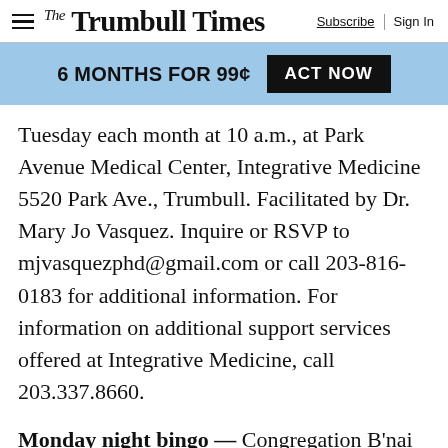The Trumbull Times | Subscribe | Sign In
6 MONTHS FOR 99¢  ACT NOW
Tuesday each month at 10 a.m., at Park Avenue Medical Center, Integrative Medicine 5520 Park Ave., Trumbull. Facilitated by Dr. Mary Jo Vasquez. Inquire or RSVP to mjvasquezphd@gmail.com or call 203-816-0183 for additional information. For information on additional support services offered at Integrative Medicine, call 203.337.8660.
Monday night bingo — Congregation B'nai Torah, 5700 Main St., Trumbull, hosts bingo on